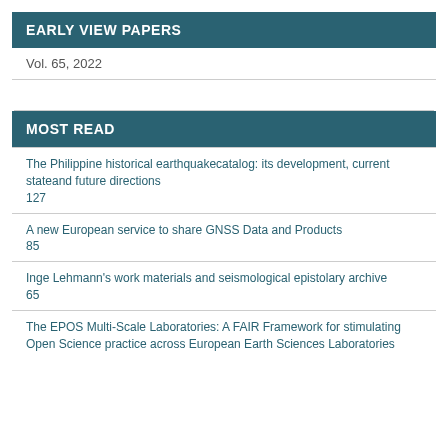EARLY VIEW PAPERS
Vol. 65, 2022
MOST READ
The Philippine historical earthquakecatalog: its development, current stateand future directions
127
A new European service to share GNSS Data and Products
85
Inge Lehmann's work materials and seismological epistolary archive
65
The EPOS Multi-Scale Laboratories: A FAIR Framework for stimulating Open Science practice across European Earth Sciences Laboratories